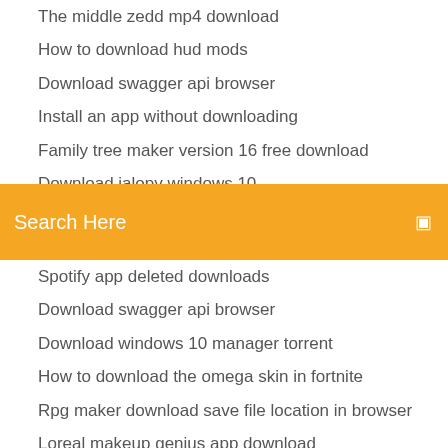The middle zedd mp4 download
How to download hud mods
Download swagger api browser
Install an app without downloading
Family tree maker version 16 free download
Download jalopy windows 10
Apexminecrafthosting download world file
Search Here
Spotify app deleted downloads
Download swagger api browser
Download windows 10 manager torrent
How to download the omega skin in fortnite
Rpg maker download save file location in browser
Loreal makeup genius app download
Cookie clicker save file download
Pixlive player apk download
Download app for smartwatch dz09
Gameboy emulator free download for pc